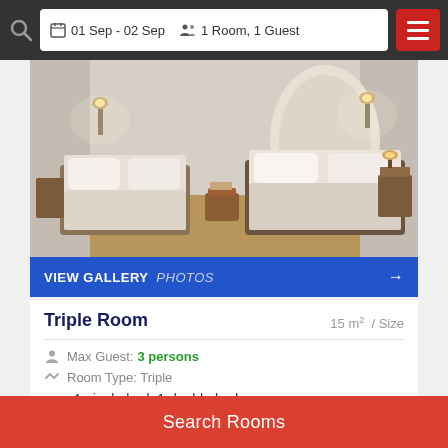01 Sep - 02 Sep  1 Room, 1 Guest
[Figure (photo): Hotel triple room with two single beds and one double bed, white bedding, arched headboard, warm lighting and wooden furniture]
VIEW GALLERY  PHOTOS →
Triple Room
15 m² / Size
Max Guest: 3 persons
Room Type: Triple
1 single bed, 1 double bed
Search Price ▶
Search Rooms